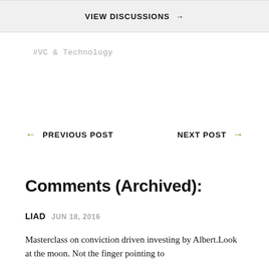VIEW DISCUSSIONS →
#VC & Technology
← PREVIOUS POST   NEXT POST →
Comments (Archived):
LIAD  JUN 18, 2016
Masterclass on conviction driven investing by Albert.Look at the moon. Not the finger pointing to